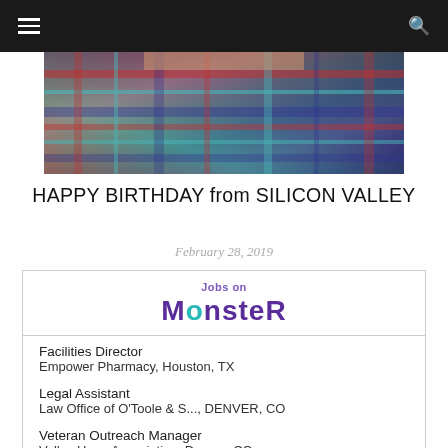Navigation bar with hamburger menu and search icon
[Figure (photo): Close-up photo of a person wearing a colorful plaid/flannel shirt with blue, red, teal, and dark colors]
HAPPY BIRTHDAY from SILICON VALLEY
February 28, 2019
[Figure (infographic): Jobs on Monster widget showing job listings]
Facilities Director
Empower Pharmacy, Houston, TX
Legal Assistant
Law Office of O'Toole & S..., DENVER, CO
Veteran Outreach Manager
Valley Hope Association, Denver, CO